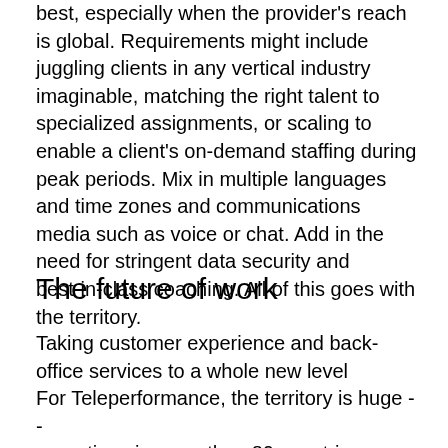best, especially when the provider's reach is global. Requirements might include juggling clients in any vertical industry imaginable, matching the right talent to specialized assignments, or scaling to enable a client's on-demand staffing during peak periods. Mix in multiple languages and time zones and communications media such as voice or chat. Add in the need for stringent data security and best-in-class coaching. All of this goes with the territory.
The future of work
Taking customer experience and back-office services to a whole new level
For Teleperformance, the territory is huge -- operations in more than 80 countries.
Agents literally serve customers the world over. A